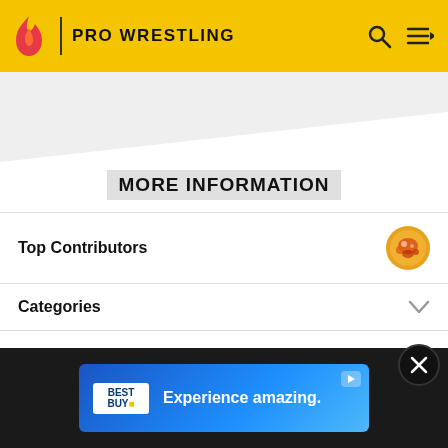PRO WRESTLING
MORE INFORMATION
Top Contributors
Categories
Community content is available under CC-BY-SA unless otherwise noted.
[Figure (screenshot): Best Buy advertisement banner reading 'Experience amazing.']